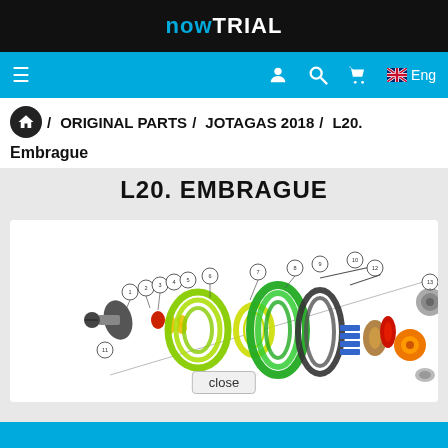nowtrial
≡  🔍  🛒  Eng
/ ORIGINAL PARTS / JOTAGAS 2018 / L20.
Embrague
L20. EMBRAGUE
[Figure (engineering-diagram): Exploded view diagram of a clutch assembly (L20. Embrague) for Jotagas 2018, showing numbered parts including springs (yellow-green coil, blue coil, red part), clutch plates (blue, copper/brown), gears (orange, gray), and various small components laid out in assembly order with part number callouts.]